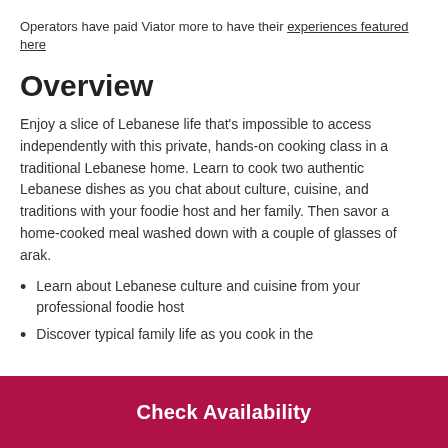Operators have paid Viator more to have their experiences featured here
Overview
Enjoy a slice of Lebanese life that's impossible to access independently with this private, hands-on cooking class in a traditional Lebanese home. Learn to cook two authentic Lebanese dishes as you chat about culture, cuisine, and traditions with your foodie host and her family. Then savor a home-cooked meal washed down with a couple of glasses of arak.
Learn about Lebanese culture and cuisine from your professional foodie host
Discover typical family life as you cook in the
Check Availability